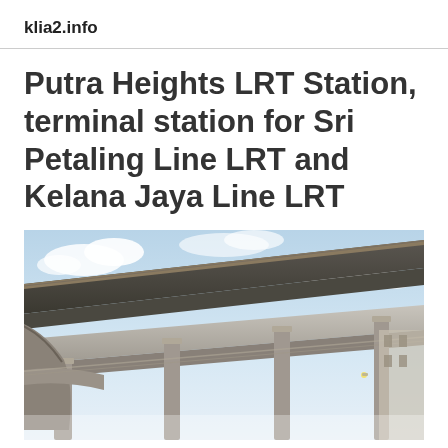klia2.info
Putra Heights LRT Station, terminal station for Sri Petaling Line LRT and Kelana Jaya Line LRT
[Figure (photo): Upward-angle photograph of elevated LRT station concrete viaduct tracks against a partly cloudy blue sky, showing multiple concrete beam spans and supporting columns of the Putra Heights LRT Station.]